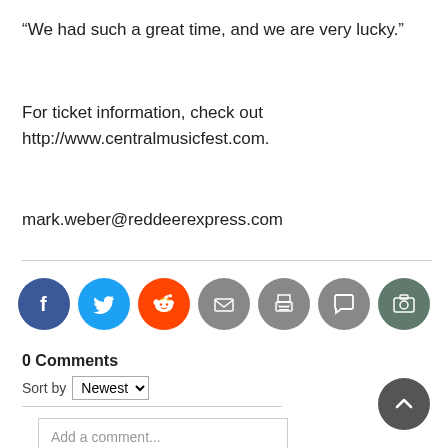“We had such a great time, and we are very lucky.”
For ticket information, check out http://www.centralmusicfest.com.
mark.weber@reddeerexpress.com
[Figure (infographic): Social sharing icons row: Facebook (blue), Twitter (light blue), Reddit (orange), Email (gray), Print (gray), Comment (gray), Photo (dark green)]
0 Comments
Sort by Newest
Add a comment...